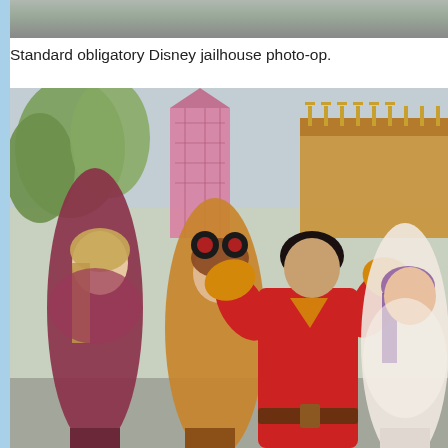[Figure (photo): Partial cropped photo at the top of the page, showing the upper edge of a scene, dark tones.]
Standard obligatory Disney jailhouse photo-op.
[Figure (photo): Group photo at a Disney park showing three young women posing with a person dressed as Gaston from Beauty and the Beast. Gaston is in a red outfit flexing his biceps. The middle woman wears Minnie Mouse ears with red flowers. Behind them is a pink and gold Disney attraction building and trees.]